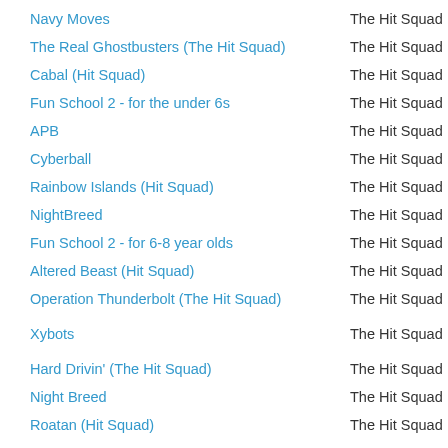Navy Moves | The Hit Squad
The Real Ghostbusters (The Hit Squad) | The Hit Squad
Cabal (Hit Squad) | The Hit Squad
Fun School 2 - for the under 6s | The Hit Squad
APB | The Hit Squad
Cyberball | The Hit Squad
Rainbow Islands (Hit Squad) | The Hit Squad
NightBreed | The Hit Squad
Fun School 2 - for 6-8 year olds | The Hit Squad
Altered Beast (Hit Squad) | The Hit Squad
Operation Thunderbolt (The Hit Squad) | The Hit Squad
Xybots | The Hit Squad
Hard Drivin' (The Hit Squad) | The Hit Squad
Night Breed | The Hit Squad
Roatan (Hit Squad) | The Hit Squad